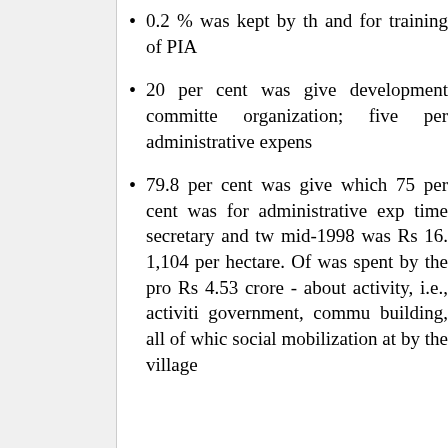0.2 % was kept by the and for training of PIA
20 per cent was given development committee organization; five per administrative expense
79.8 per cent was given which 75 per cent was for administrative exp time secretary and two mid-1998 was Rs 16. 1,104 per hectare. Of was spent by the proj Rs 4.53 crore - about activity, i.e., activiti government, commu building, all of whic social mobilization at by the village